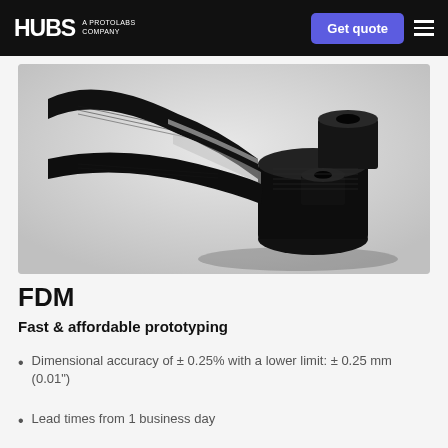HUBS A PROTOLABS COMPANY | Get quote
[Figure (photo): Close-up photo of a black FDM 3D-printed plastic part — a forked bracket/linkage with two cylindrical boss features, showing visible layer lines from fused deposition modeling on a white/grey background.]
FDM
Fast & affordable prototyping
Dimensional accuracy of ± 0.25% with a lower limit: ± 0.25 mm (0.01")
Lead times from 1 business day